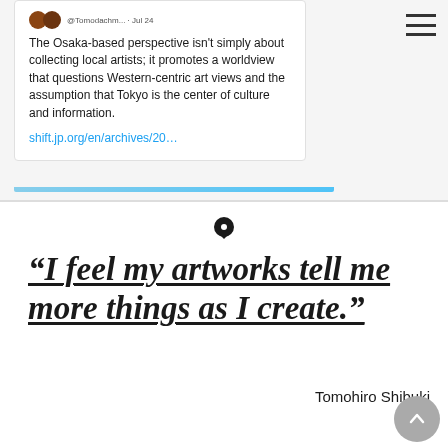[Figure (screenshot): Tweet card showing text about Osaka-based perspective and link to shift.jp.org]
The Osaka-based perspective isn't simply about collecting local artists; it promotes a worldview that questions Western-centric art views and the assumption that Tokyo is the center of culture and information. shift.jp.org/en/archives/20…
[Figure (other): Black chat/message bubble icon]
“I feel my artworks tell me more things as I create.”
Tomohiro Shibuki